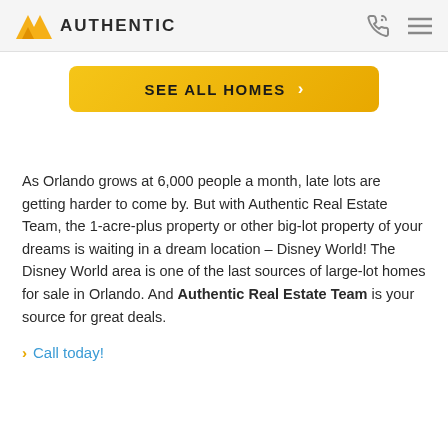Authentic
[Figure (other): SEE ALL HOMES button with gold/yellow background and chevron arrow]
As Orlando grows at 6,000 people a month, late lots are getting harder to come by. But with Authentic Real Estate Team, the 1-acre-plus property or other big-lot property of your dreams is waiting in a dream location – Disney World! The Disney World area is one of the last sources of large-lot homes for sale in Orlando. And Authentic Real Estate Team is your source for great deals.
> Call today!